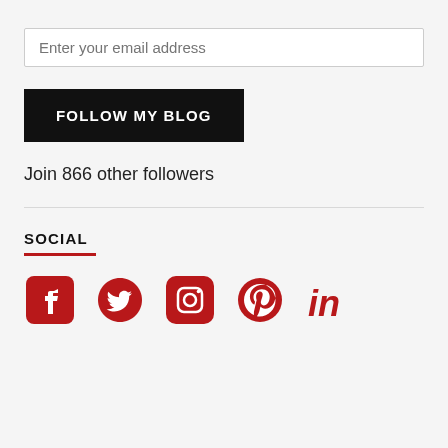Enter your email address
FOLLOW MY BLOG
Join 866 other followers
SOCIAL
[Figure (infographic): Social media icons: Facebook, Twitter, Instagram, Pinterest, LinkedIn — all in red]